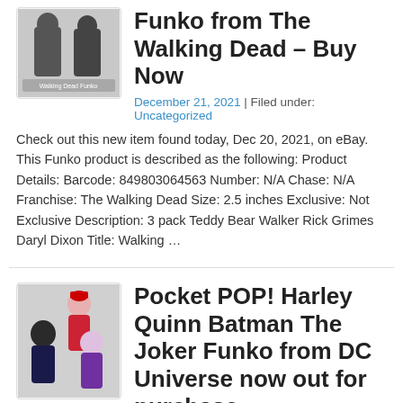[Figure (photo): Thumbnail image of two Walking Dead Funko figurines in packaging]
Funko from The Walking Dead – Buy Now
December 21, 2021 | Filed under: Uncategorized
Check out this new item found today, Dec 20, 2021, on eBay. This Funko product is described as the following: Product Details: Barcode: 849803064563 Number: N/A Chase: N/A Franchise: The Walking Dead Size: 2.5 inches Exclusive: Not Exclusive Description: 3 pack Teddy Bear Walker Rick Grimes Daryl Dixon Title: Walking …
[Figure (photo): Thumbnail image of Harley Quinn, Batman, and The Joker Funko Pocket POP figures]
Pocket POP! Harley Quinn Batman The Joker Funko from DC Universe now out for purchase